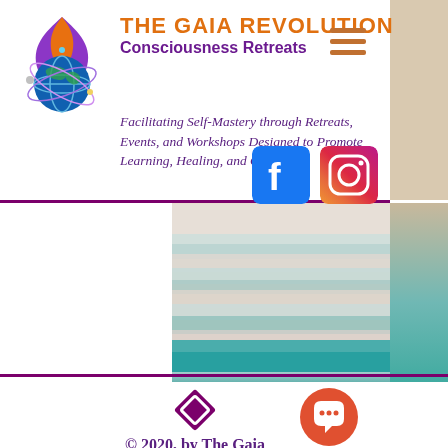[Figure (logo): The Gaia Revolution flame and earth logo - purple flame with globe]
THE GAIA REVOLUTION Consciousness Retreats
Facilitating Self-Mastery through Retreats, Events, and Workshops Designed to Promote Learning, Healing, and Growth
[Figure (illustration): Facebook and Instagram social media icons]
[Figure (photo): Blurred ocean/water landscape with teal and beige tones]
[Figure (other): Purple diamond/rhombus decorative icon]
© 2020, by The Gaia Revolution.
[Figure (other): Orange circular chat/message button]